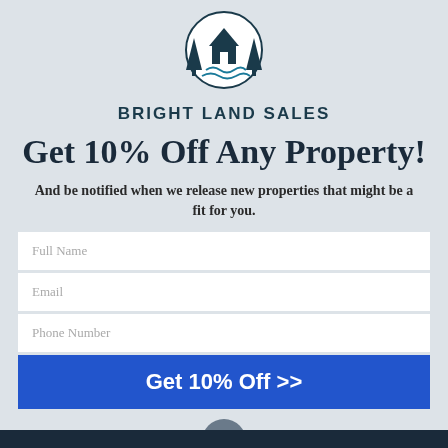[Figure (logo): Bright Land Sales logo with circular emblem showing a house, trees, and water/waves, with brand name below]
Get 10% Off Any Property!
And be notified when we release new properties that might be a fit for you.
[Figure (screenshot): Form with fields: Full Name, Email, Phone Number, and a blue submit button labeled 'Get 10% Off >>']
[Figure (other): Gray circular chevron/down-arrow button]